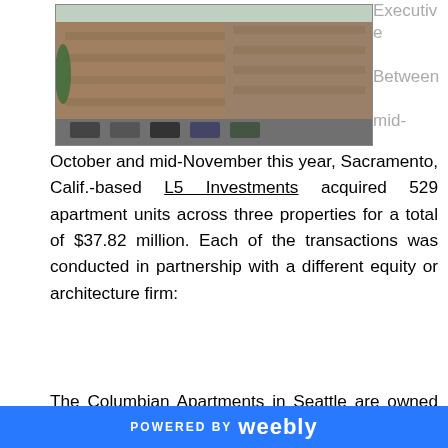[Figure (photo): Photo of an apartment building exterior, multi-story with parking lot in front]
Executive Between mid-
October and mid-November this year, Sacramento, Calif.-based L5 Investments acquired 529 apartment units across three properties for a total of $37.82 million. Each of the transactions was conducted in partnership with a different equity or architecture firm:
The Columbian Apartments in Seattle are owned with Schuler Architects; the Marina Gardens Apartments in Sparks, Nev., was acquired with Alamo Equities; and the Lenexa Pointe Apartments in Lenexa, Kans., were acquired with BH Equities.
POWERED BY weebly